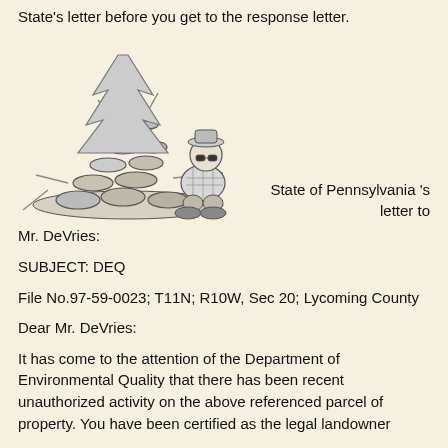State's letter before you get to the response letter.
[Figure (illustration): Black and white cartoon illustration of a person with a hat and sunglasses sitting next to a large pile of logs or wood.]
State of Pennsylvania 's letter to Mr. DeVries:
SUBJECT: DEQ
File No.97-59-0023; T11N; R10W, Sec 20; Lycoming County
Dear Mr. DeVries:
It has come to the attention of the Department of Environmental Quality that there has been recent unauthorized activity on the above referenced parcel of property. You have been certified as the legal landowner